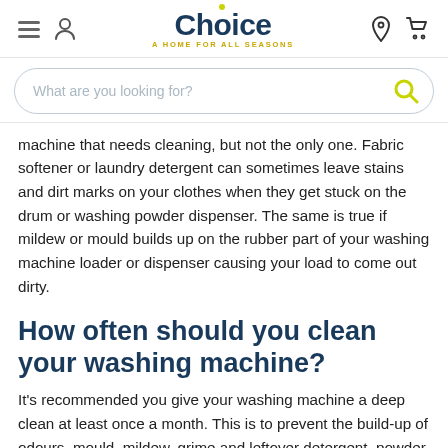Choice — A Home For All Seasons (navigation header with logo, hamburger menu, user icon, location and cart icons)
[Figure (screenshot): Search bar with placeholder text 'What are you looking for?' and a yellow magnifying glass icon on the right]
machine that needs cleaning, but not the only one. Fabric softener or laundry detergent can sometimes leave stains and dirt marks on your clothes when they get stuck on the drum or washing powder dispenser. The same is true if mildew or mould builds up on the rubber part of your washing machine loader or dispenser causing your load to come out dirty.
How often should you clean your washing machine?
It's recommended you give your washing machine a deep clean at least once a month. This is to prevent the build-up of odours, mould, mildew, grime and leftover detergent, powder and